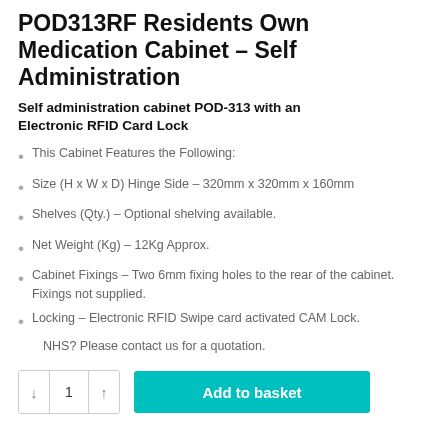POD313RF Residents Own Medication Cabinet – Self Administration
Self administration cabinet POD-313 with an Electronic RFID Card Lock
This Cabinet Features the Following:
Size (H x W x D) Hinge Side – 320mm x 320mm x 160mm
Shelves (Qty.) – Optional shelving available.
Net Weight (Kg) – 12Kg Approx.
Cabinet Fixings – Two 6mm fixing holes to the rear of the cabinet. Fixings not supplied.
Locking – Electronic RFID Swipe card activated CAM Lock.
NHS? Please contact us for a quotation.